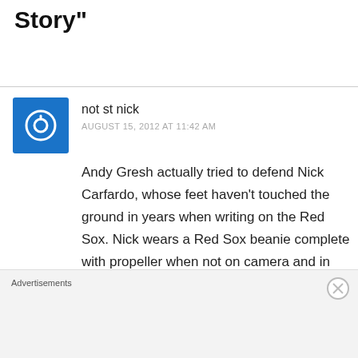Story”
not st nick
AUGUST 15, 2012 AT 11:42 AM
Andy Gresh actually tried to defend Nick Carfardo, whose feet haven’t touched the ground in years when writing on the Red Sox. Nick wears a Red Sox beanie complete with propeller when not on camera and in my opinion, probably carries Ortiz’s travel bag when off duty
Advertisements